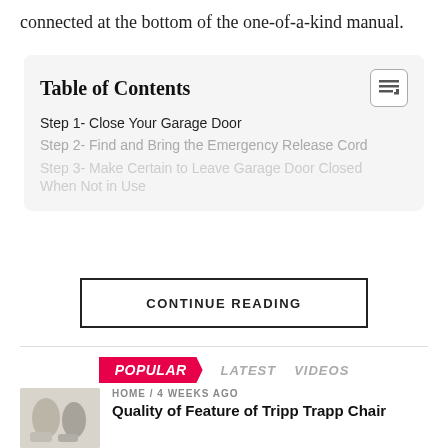connected at the bottom of the one-of-a-kind manual.
| Table of Contents |
| --- |
| Step 1- Close Your Garage Door |
| Step 2- Find and Bring the Emergency Release Cord |
| Step 3- Make Certain to Leave Garage Door Closed When Not in Use |
CONTINUE READING
POPULAR   LATEST   VIDEOS
HOME / 4 weeks ago
Quality of Feature of Tripp Trapp Chair
TECH / 2 weeks ago
5 Electric Skateboard Tips For Beginner In 2020